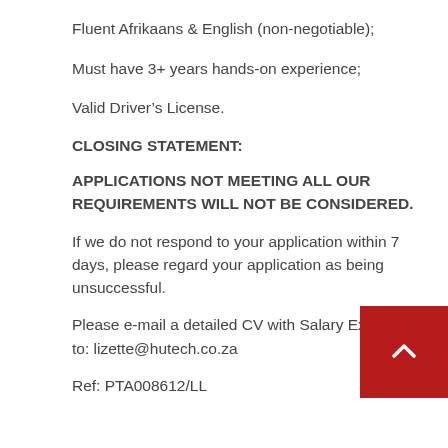Fluent Afrikaans & English (non-negotiable);
Must have 3+ years hands-on experience;
Valid Driver’s License.
CLOSING STATEMENT:
APPLICATIONS NOT MEETING ALL OUR REQUIREMENTS WILL NOT BE CONSIDERED.
If we do not respond to your application within 7 days, please regard your application as being unsuccessful.
Please e-mail a detailed CV with Salary Expecta… to: lizette@hutech.co.za
Ref: PTA008612/LL